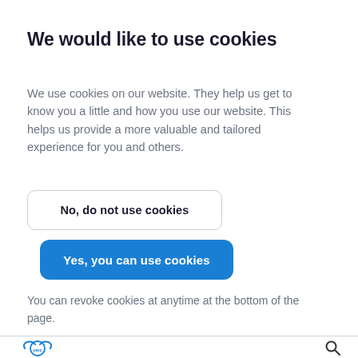We would like to use cookies
We use cookies on our website. They help us get to know you a little and how you use our website. This helps us provide a more valuable and tailored experience for you and others.
No, do not use cookies
Yes, you can use cookies
You can revoke cookies at anytime at the bottom of the page.
[Figure (logo): OWC circular logo in blue]